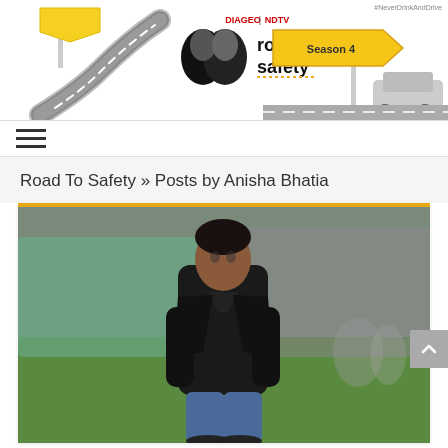[Figure (logo): Diageo NDTV Road to Safety Season 4 website header banner with road illustration, logo, and road sign]
≡
Road To Safety » Posts by Anisha Bhatia
[Figure (photo): Man in black leather jacket standing on cricket ground green grass, blurred stadium background]